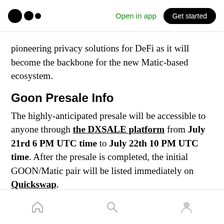Medium header with logo, Open in app, Get started
pioneering privacy solutions for DeFi as it will become the backbone for the new Matic-based ecosystem.
Goon Presale Info
The highly-anticipated presale will be accessible to anyone through the DXSALE platform from July 21rd 6 PM UTC time to July 22th 10 PM UTC time. After the presale is completed, the initial GOON/Matic pair will be listed immediately on Quickswap.
Home, Search, Profile navigation icons